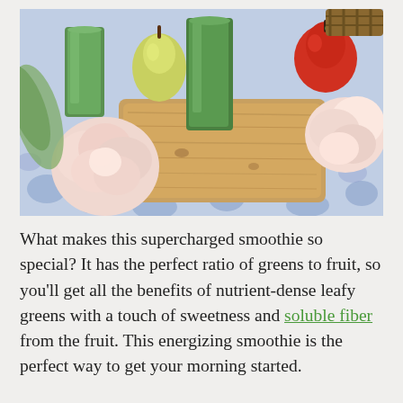[Figure (photo): A styled food photography scene showing green smoothies in tall glasses on a wooden cutting board, surrounded by pears, a red apple, pink peony flowers, and a decorative blue floral tablecloth.]
What makes this supercharged smoothie so special? It has the perfect ratio of greens to fruit, so you'll get all the benefits of nutrient-dense leafy greens with a touch of sweetness and soluble fiber from the fruit. This energizing smoothie is the perfect way to get your morning started.